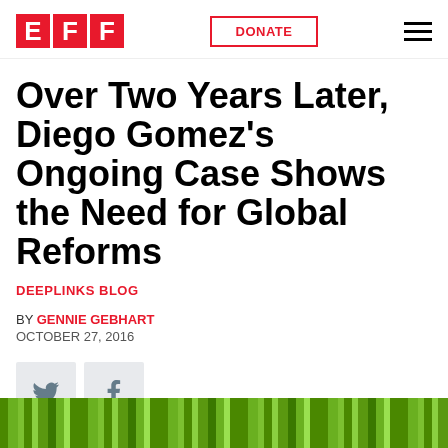EFF | DONATE
Over Two Years Later, Diego Gomez's Ongoing Case Shows the Need for Global Reforms
DEEPLINKS BLOG
BY GENNIE GEBHART
OCTOBER 27, 2016
[Figure (other): Social share icons: Twitter and Facebook buttons]
[Figure (photo): Green striped background image at the bottom of the page]